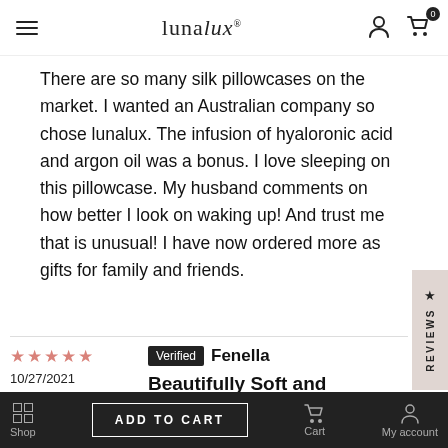lunalux
There are so many silk pillowcases on the market. I wanted an Australian company so chose lunalux. The infusion of hyaloronic acid and argon oil was a bonus. I love sleeping on this pillowcase. My husband comments on how better I look on waking up! And trust me that is unusual! I have now ordered more as gifts for family and friends.
Verified Fenella — 10/27/2021 — ★★★★★
Beautifully Soft and Luxurious
Lunalux is has beautiful products, great service, and quick delivery. I love the packaging for a great gift.
Shop | ADD TO CART | Cart | My account